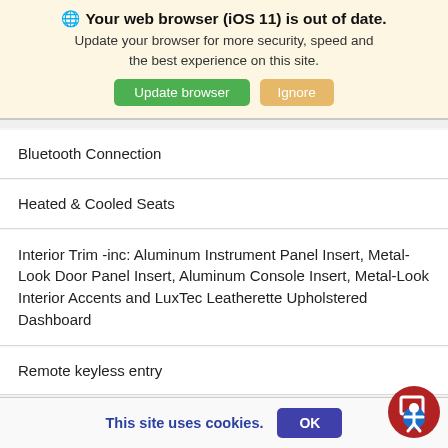🌐 Your web browser (iOS 11) is out of date. Update your browser for more security, speed and the best experience on this site. [Update browser] [Ignore]
Bluetooth Connection
Heated & Cooled Seats
Interior Trim -inc: Aluminum Instrument Panel Insert, Metal-Look Door Panel Insert, Aluminum Console Insert, Metal-Look Interior Accents and LuxTec Leatherette Upholstered Dashboard
Remote keyless entry
Lane Departure Warning
This site uses cookies. OK